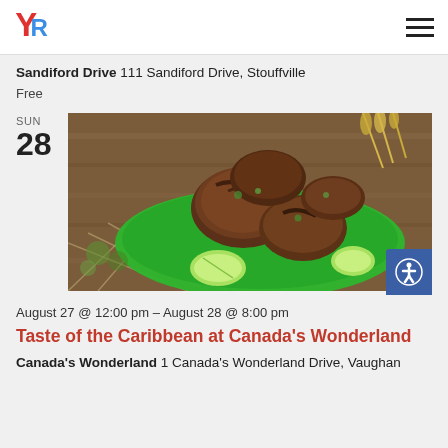YR logo and navigation menu
Sandiford Drive 111 Sandiford Drive, Stouffville
Free
SUN
28
[Figure (photo): Grilled jerk chicken pieces on a green plate with lime wedges, garnished with herbs, on a wooden surface with rope and wheat stalks in background.]
August 27 @ 12:00 pm - August 28 @ 8:00 pm
Taste of the Caribbean at Canada's Wonderland
Canada's Wonderland 1 Canada's Wonderland Drive, Vaughan